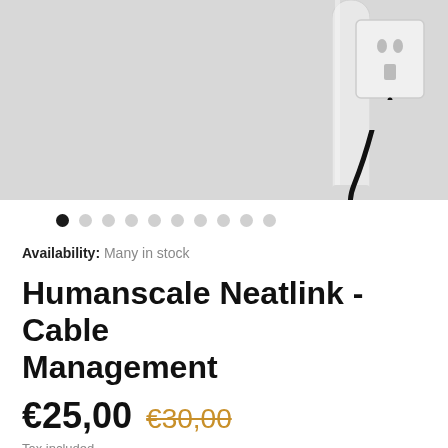[Figure (photo): Product photo showing a white Humanscale Neatlink cable management duct mounted on a light grey wall next to a white electrical wall outlet with a black cable plugged in.]
Availability:  Many in stock
Humanscale Neatlink - Cable Management
€25,00  €30,00
Tax included.
Shipping Included